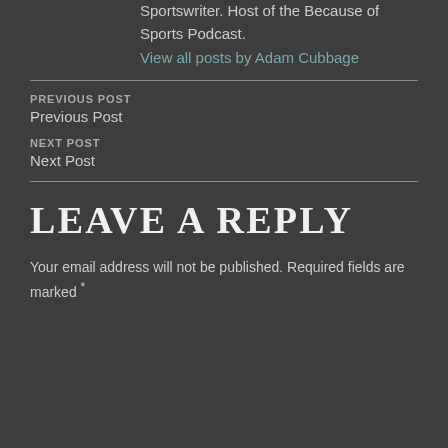Sportswriter. Host of the Because of Sports Podcast.
View all posts by Adam Cubbage
PREVIOUS POST
Previous Post
NEXT POST
Next Post
LEAVE A REPLY
Your email address will not be published. Required fields are marked *